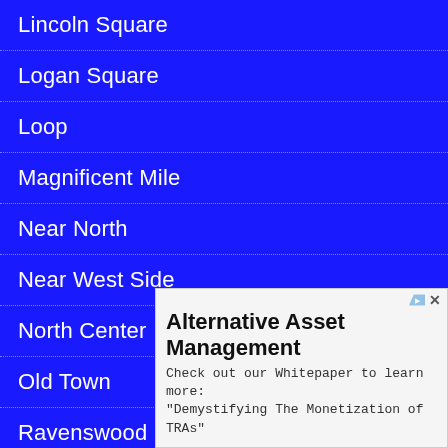Lincoln Square
Logan Square
Loop
Magnificent Mile
Near North
Near West Side
North Center
Old Town
Ravenswood
River North
Rogers Park
Roscoe
South L
Streete
[Figure (screenshot): Advertisement overlay for Parallaxes Capital LLC promoting Alternative Asset Management. Headline: 'Alternative Asset Management'. Body: 'Check out our Whitepaper to learn more: "Demystifying The Monetization of TRAs"'. Advertiser: 'Parallaxes Capital, LLC'. Button: 'Open'.]